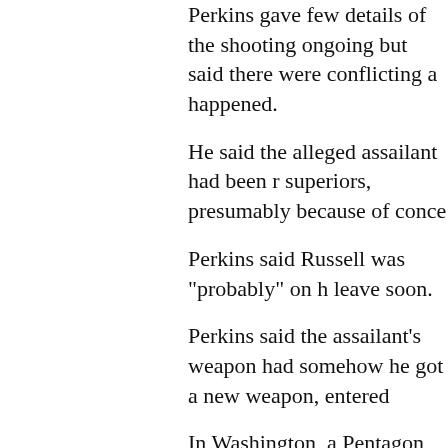Perkins gave few details of the shooting ongoing but said there were conflicting accounts of what happened.
He said the alleged assailant had been reported to his superiors, presumably because of concerns about him.
Perkins said Russell was "probably" on his way out, due to leave soon.
Perkins said the assailant's weapon had been taken away, but somehow he got a new weapon, entered a building.
In Washington, a Pentagon official, who said the alleged assailant had been escorted to the base after getting into an argument with the staff and was asked to leave.
After he and his escort drove away, Russell allegedly took the escort's weapon and returned to the base.
President Barack Obama, who visited amid the report said in a statement that he was "shocked" by the report.
At the Pentagon, Admiral Mike Mullen, chairman of the Joint Chiefs of Staff, said the shooting had occurred "in an area" where people were seeking help." He added: "It does s